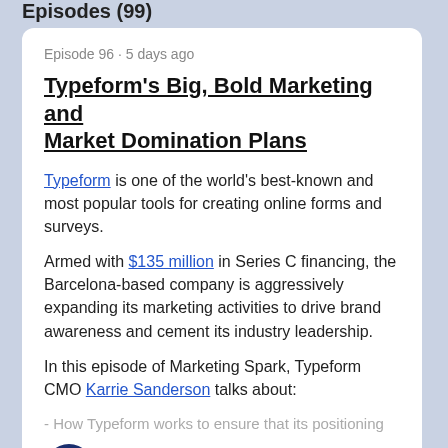Episodes (99)
Episode 96 · 5 days ago
Typeform's Big, Bold Marketing and Market Domination Plans
Typeform is one of the world's best-known and most popular tools for creating online forms and surveys.
Armed with $135 million in Series C financing, the Barcelona-based company is aggressively expanding its marketing activities to drive brand awareness and cement its industry leadership.
In this episode of Marketing Spark, Typeform CMO Karrie Sanderson talks about:
- How Typeform works to ensure that its positioning
LISTEN NOW